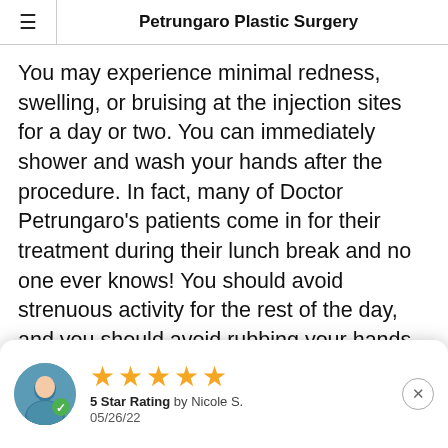Petrungaro Plastic Surgery
You may experience minimal redness, swelling, or bruising at the injection sites for a day or two. You can immediately shower and wash your hands after the procedure. In fact, many of Doctor Petrungaro's patients come in for their treatment during their lunch break and no one ever knows! You should avoid strenuous activity for the rest of the day, and you should avoid rubbing your hands in order to prevent the product from being pushed out of the areas that were intentionally filled
[Figure (other): Review card with 5 star rating by Nicole S. dated 05/26/22, with avatar icon of a person with a green checkmark]